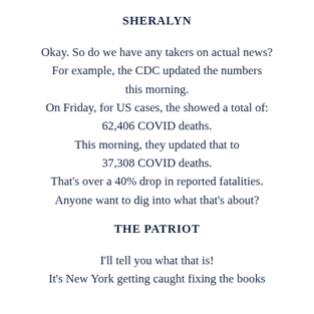SHERALYN
Okay. So do we have any takers on actual news? For example, the CDC updated the numbers this morning.
On Friday, for US cases, the showed a total of:
62,406 COVID deaths.
This morning, they updated that to
37,308 COVID deaths.
That’s over a 40% drop in reported fatalities.
Anyone want to dig into what that’s about?
THE PATRIOT
I’ll tell you what that is!
It’s New York getting caught fixing the books